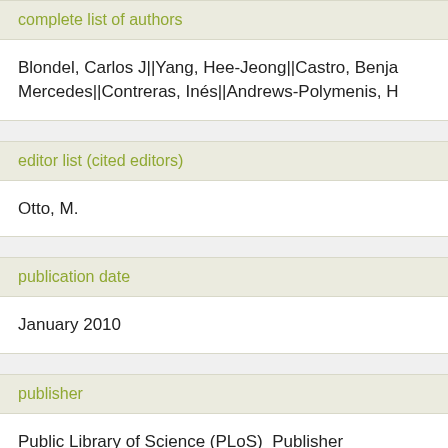complete list of authors
Blondel, Carlos J||Yang, Hee-Jeong||Castro, Benja Mercedes||Contreras, Inés||Andrews-Polymenis, H
editor list (cited editors)
Otto, M.
publication date
January 2010
publisher
Public Library of Science (PLoS)  Publisher